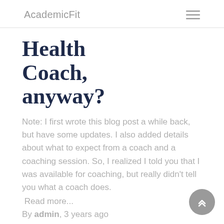AcademicFit
Health Coach, anyway?
Note: I first wrote this blog post a while back, but have some updates. I also added details about what to expect from a coach and a coaching session. So, I realized I told you that I was available for coaching, but really didn't tell you what a coach does.
Read more...
By admin, 3 years ago